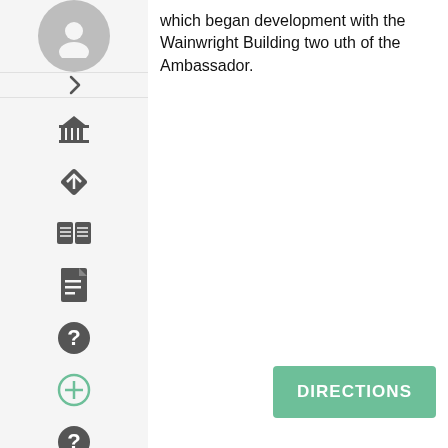which began development with the Wainwright Building two uth of the Ambassador.
[Figure (screenshot): Mobile app sidebar with profile icon, navigation arrow, and various icons including museum, directions, book, document, help, add, help, add, search, help]
DIRECTIONS